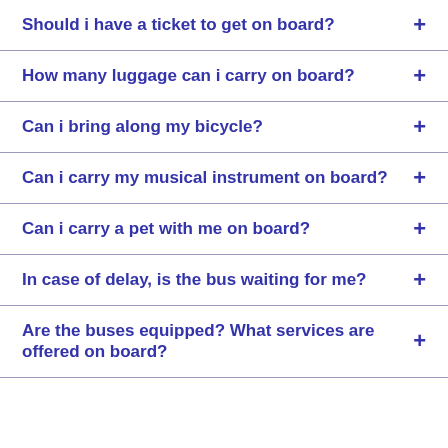Should i have a ticket to get on board?
How many luggage can i carry on board?
Can i bring along my bicycle?
Can i carry my musical instrument on board?
Can i carry a pet with me on board?
In case of delay, is the bus waiting for me?
Are the buses equipped? What services are offered on board?